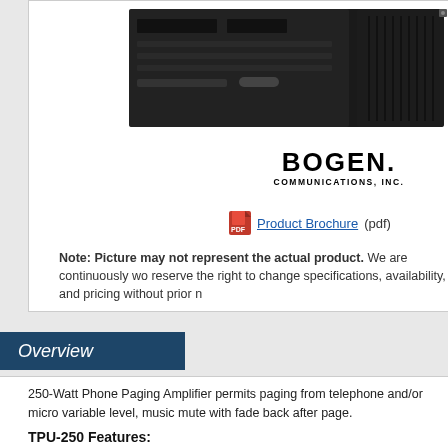[Figure (photo): Product photo of Bogen TPU-250 phone paging amplifier, a black rack-mount unit with ventilation grilles]
[Figure (logo): Bogen Communications, Inc. logo]
Product Brochure (pdf)
Note: Picture may not represent the actual product. We are continuously wo reserve the right to change specifications, availability, and pricing without prior n
Overview
250-Watt Phone Paging Amplifier permits paging from telephone and/or micro variable level, music mute with fade back after page.
TPU-250 Features:
Night Ringer: Sends an electronic ringing tone signal through all speakers,
250-watt wall-mounted telephone paging amplifiers
Inputs for 600-ohm balanced telephone line, Lo-Z balanced microphone, an
Music input (RCA jack or screw terminals)